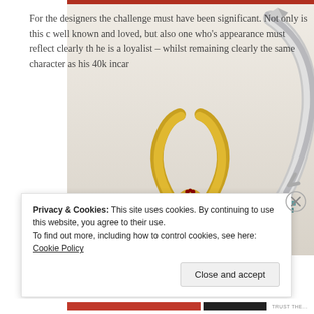[Figure (photo): Partial view of fantasy miniature figurine with gold horned headdress, serpentine decorations in teal/blue segments, red body, and a large ornate curved blade weapon (khopesh-style) with teal inlays and bronze/copper handle, against a light grey/white background.]
For the designers the challenge must have been significant. Not only is this c well known and loved, but also one who’s appearance must reflect clearly th he is a loyalist – whilst remaining clearly the same character as his 40k incar
Privacy & Cookies: This site uses cookies. By continuing to use this website, you agree to their use.
To find out more, including how to control cookies, see here: Cookie Policy
Close and accept